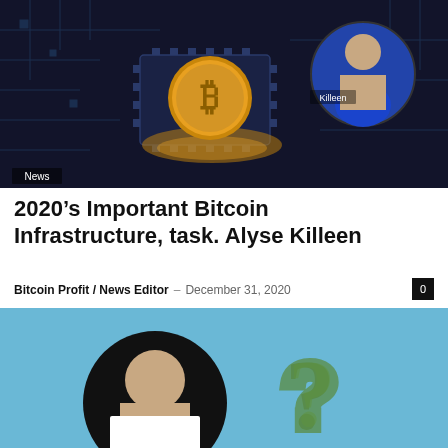[Figure (photo): Bitcoin chip circuit board with golden glowing Bitcoin coin in center, woman (Killeen) in circular portrait overlay at top right, 'News' badge at bottom left]
2020's Important Bitcoin Infrastructure, task. Alyse Killeen
Bitcoin Profit / News Editor  –  December 31, 2020
[Figure (photo): Light blue background with circular portrait of a man on the left and a question mark shaped from dollar bills on the right]